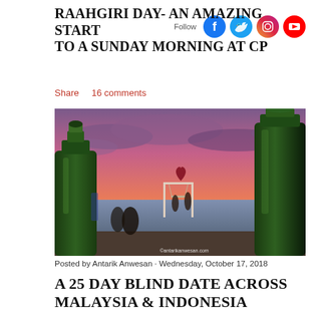RAAHGIRI DAY- AN AMAZING START TO A SUNDAY MORNING AT CP
Share   16 comments
[Figure (photo): Sunset beach scene with two green beer bottles in the foreground, a decorative arch with a heart shape in the ocean, silhouettes of people, pink and purple sky. Watermark: ©antarikanwesan.com]
Posted by Antarik Anwesan · Wednesday, October 17, 2018
A 25 DAY BLIND DATE ACROSS MALAYSIA & INDONESIA